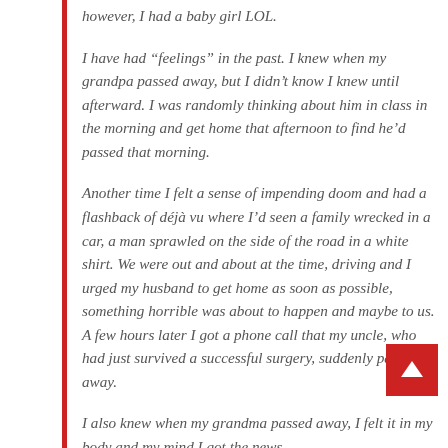however, I had a baby girl LOL.
I have had “feelings” in the past. I knew when my grandpa passed away, but I didn’t know I knew until afterward. I was randomly thinking about him in class in the morning and get home that afternoon to find he’d passed that morning.
Another time I felt a sense of impending doom and had a flashback of déjà vu where I’d seen a family wrecked in a car, a man sprawled on the side of the road in a white shirt. We were out and about at the time, driving and I urged my husband to get home as soon as possible, something horrible was about to happen and maybe to us. A few hours later I got a phone call that my uncle, who had just survived a successful surgery, suddenly passed away.
I also knew when my grandma passed away, I felt it in my body and my mind I got the news.